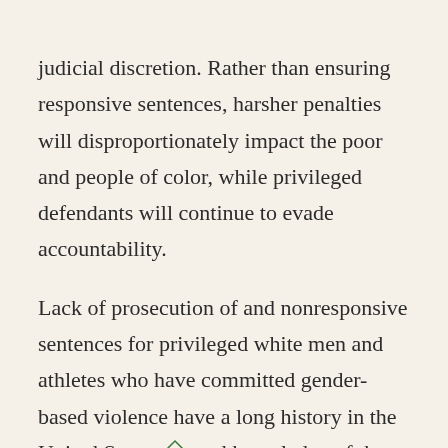judicial discretion. Rather than ensuring responsive sentences, harsher penalties will disproportionately impact the poor and people of color, while privileged defendants will continue to evade accountability.
Lack of prosecution of and nonresponsive sentences for privileged white men and athletes who have committed gender-based violence have a long history in the United States,[53] and knowledge of the criminal system's failure to respond adequately reinforces victims' beliefs that their claims will not be taken seriously.[54] In the United States, nearly 22 million women have